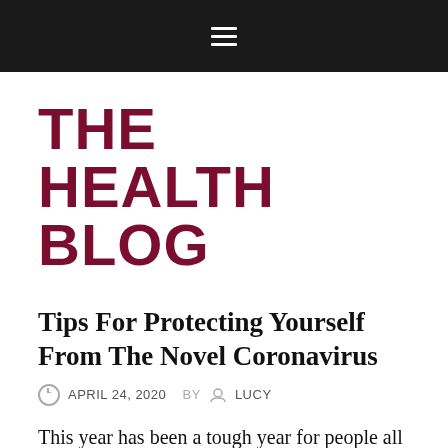≡
THE HEALTH BLOG
Tips For Protecting Yourself From The Novel Coronavirus
APRIL 24, 2020   BY   LUCY
This year has been a tough year for people all around the world, due to the recent rise of the novel coronavirus.  Thousands of people have died and